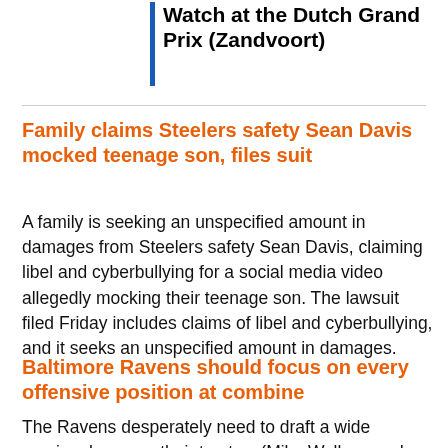Watch at the Dutch Grand Prix (Zandvoort)
Family claims Steelers safety Sean Davis mocked teenage son, files suit
A family is seeking an unspecified amount in damages from Steelers safety Sean Davis, claiming libel and cyberbullying for a social media video allegedly mocking their teenage son. The lawsuit filed Friday includes claims of libel and cyberbullying, and it seeks an unspecified amount in damages.
Baltimore Ravens should focus on every offensive position at combine
The Ravens desperately need to draft a wide receiver because their top two (Mike Wallace and Jeremy Maclin) could be gone and Breshad Perriman has been